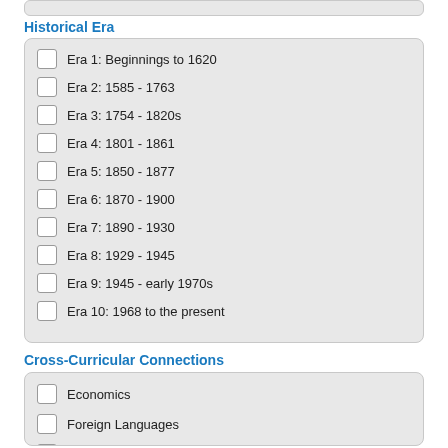Historical Era
Era 1: Beginnings to 1620
Era 2: 1585 - 1763
Era 3: 1754 - 1820s
Era 4: 1801 - 1861
Era 5: 1850 - 1877
Era 6: 1870 - 1900
Era 7: 1890 - 1930
Era 8: 1929 - 1945
Era 9: 1945 - early 1970s
Era 10: 1968 to the present
Cross-Curricular Connections
Economics
Foreign Languages
Geography
Government and Civics
Math